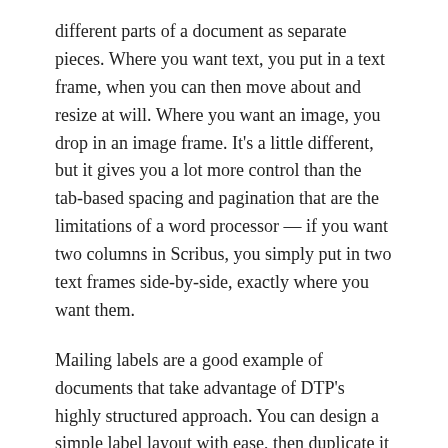different parts of a document as separate pieces. Where you want text, you put in a text frame, when you can then move about and resize at will. Where you want an image, you drop in an image frame. It's a little different, but it gives you a lot more control than the tab-based spacing and pagination that are the limitations of a word processor — if you want two columns in Scribus, you simply put in two text frames side-by-side, exactly where you want them.
Mailing labels are a good example of documents that take advantage of DTP's highly structured approach. You can design a simple label layout with ease, then duplicate it for an entire page's worth for easy printing; the result is much easier to work with and make changes to than the same layout in a word processor.
DTP basics
For example, open Scribus and create a new document. Even